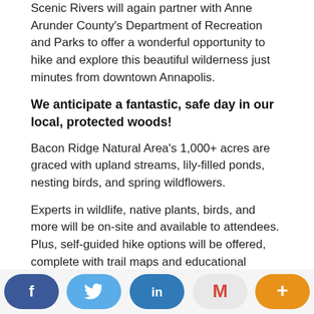Scenic Rivers will again partner with Anne Arundel County's Department of Recreation and Parks to offer a wonderful opportunity to hike and explore this beautiful wilderness just minutes from downtown Annapolis.
We anticipate a fantastic, safe day in our local, protected woods!
Bacon Ridge Natural Area's 1,000+ acres are graced with upland streams, lily-filled ponds, nesting birds, and spring wildflowers.
Experts in wildlife, native plants, birds, and more will be on-site and available to attendees. Plus, self-guided hike options will be offered, complete with trail maps and educational signage posted along the trails. Hikes range from 1 to 4 miles, vary in degree of difficulty, and are on marked trails. Attendees will access the
[Figure (infographic): Social share bar with buttons: Facebook (dark blue), Twitter (light blue), LinkedIn (dark blue), Gmail (light grey with red M), and More/Plus (orange)]